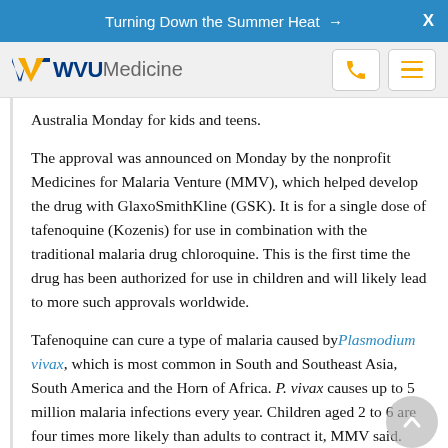Turning Down the Summer Heat →  X
[Figure (logo): WVU Medicine logo with flying WV mark in navy blue, 'WVU' in bold navy, 'Medicine' in gray, and phone/menu icon buttons]
Australia Monday for kids and teens.
The approval was announced on Monday by the nonprofit Medicines for Malaria Venture (MMV), which helped develop the drug with GlaxoSmithKline (GSK). It is for a single dose of tafenoquine (Kozenis) for use in combination with the traditional malaria drug chloroquine. This is the first time the drug has been authorized for use in children and will likely lead to more such approvals worldwide.
Tafenoquine can cure a type of malaria caused by Plasmodium vivax, which is most common in South and Southeast Asia, South America and the Horn of Africa. P. vivax causes up to 5 million malaria infections every year. Children aged 2 to 6 are four times more likely than adults to contract it, MMV said.